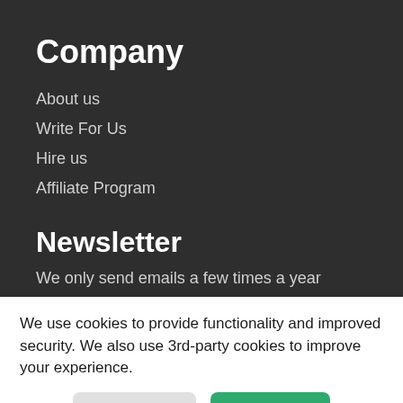Company
About us
Write For Us
Hire us
Affiliate Program
Newsletter
We only send emails a few times a year
We use cookies to provide functionality and improved security. We also use 3rd-party cookies to improve your experience.
Manage
Accept